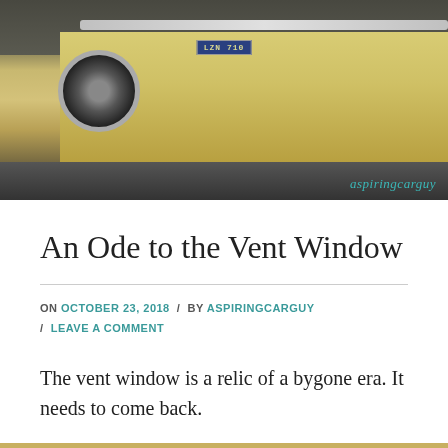[Figure (photo): Rear/side view of a classic yellow muscle car (likely a Camaro or Mustang) with a blue license plate reading 'LZN 710', parked on asphalt. Watermark 'aspiringcarguy' in teal italic text in bottom right of photo.]
An Ode to the Vent Window
ON OCTOBER 23, 2018 / BY ASPIRINGCARGUY / LEAVE A COMMENT
The vent window is a relic of a bygone era. It needs to come back.